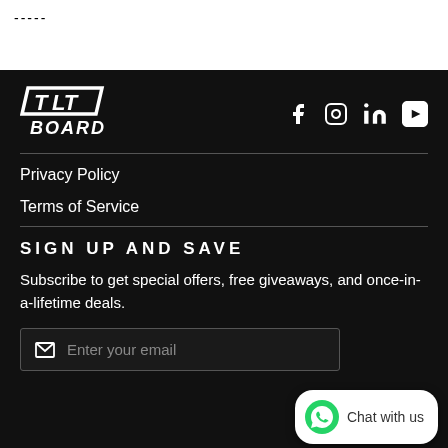-----
[Figure (logo): TLT BOARD logo in white on black background]
[Figure (infographic): Social media icons: Facebook, Instagram, LinkedIn, YouTube]
Privacy Policy
Terms of Service
SIGN UP AND SAVE
Subscribe to get special offers, free giveaways, and once-in-a-lifetime deals.
Enter your email
[Figure (infographic): Chat with us button with WhatsApp icon]